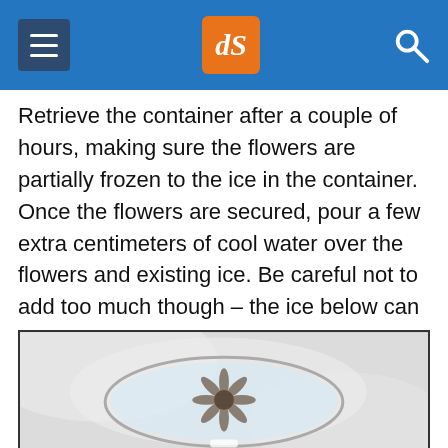dPS (digital Photography School)
Retrieve the container after a couple of hours, making sure the flowers are partially frozen to the ice in the container. Once the flowers are secured, pour a few extra centimeters of cool water over the flowers and existing ice. Be careful not to add too much though – the ice below can thaw and release the flowers, starting the whole process again. Return the container to the freezer.
[Figure (photo): A flower frozen in ice inside a clear container, seen from above, with white fabric or plastic in the background.]